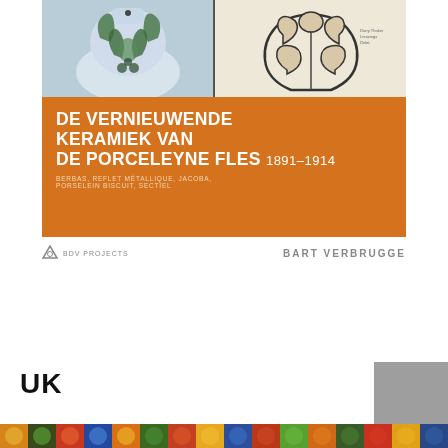[Figure (photo): Book cover of 'De Vernieuwende Keramiek van De Porceleyne Fles 1891-1914'. Top half shows two photos: left is a ceramic vase with green Art Nouveau decoration on light blue/grey background; right is a technical design drawing of a ceramic piece on cream background. Below is an orange band with the book title in white bold text, subtitle in small caps, publisher logo (BDV Projects) on left and author name (Bart Verbrugge) on right.]
UK
[Figure (photo): Bottom decorative strip showing colorful ceramic tile or pottery pattern with bright yellows, greens, reds, blues in an ornate repeating design.]